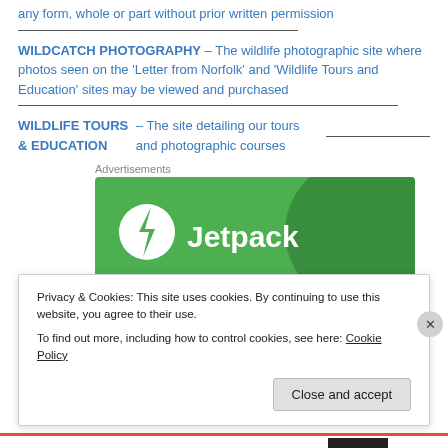any form, whole or part without prior written permission
WILDCATCH PHOTOGRAPHY – The wildlife photographic site where photos seen on the 'Letter from Norfolk' and 'Wildlife Tours and Education' sites may be viewed and purchased
WILDLIFE TOURS & EDUCATION – The site detailing our tours and photographic courses
Advertisements
[Figure (logo): Jetpack advertisement banner with green background and Jetpack logo (white circle with lightning bolt) and 'Jetpack' text in white]
Privacy & Cookies: This site uses cookies. By continuing to use this website, you agree to their use.
To find out more, including how to control cookies, see here: Cookie Policy